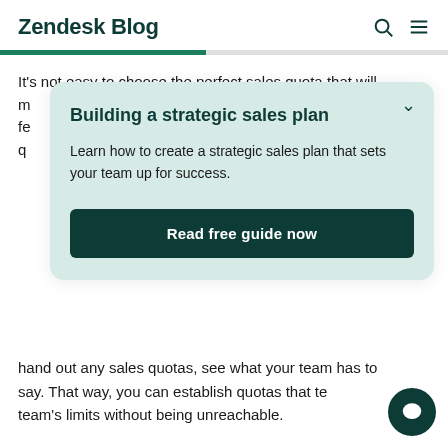Zendesk Blog
It's not easy to choose the perfect sales quota that will m... fe... q...
Building a strategic sales plan
Learn how to create a strategic sales plan that sets your team up for success.
Read free guide now
hand out any sales quotas, see what your team has to say. That way, you can establish quotas that te... team's limits without being unreachable.